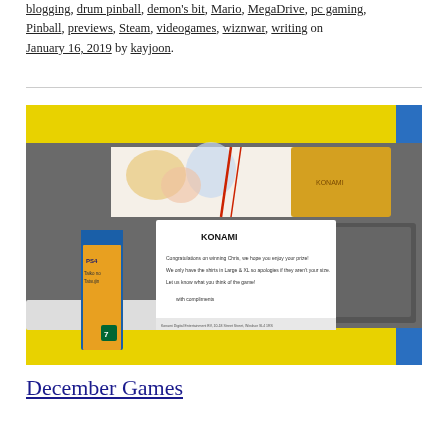blogging, drum pinball, demon's bit, Mario, MegaDrive, pc gaming, Pinball, previews, Steam, videogames, wiznwar, writing on January 16, 2019 by kayjoon.
[Figure (photo): A yellow box opened to reveal its contents: a PS4 game (Taiko no Tatsujin), a rolled poster with rubber band, a grey cloth item, and a white Konami letter inside reading 'Congratulations on winning Chris, we hope you enjoy your prize! We only have the shirts in Large & XL so apologies if they aren't your size. Let us know what you think of the game! with compliments']
December Games